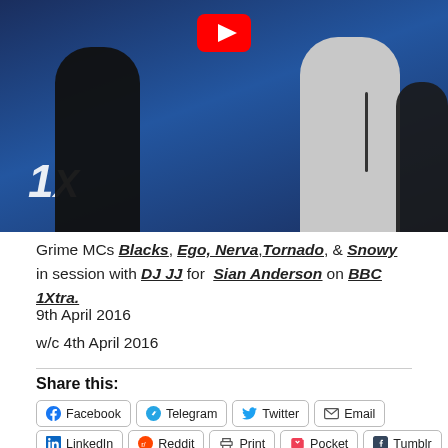[Figure (photo): Screenshot of a BBC 1Xtra YouTube video thumbnail showing grime MCs and DJs in a studio session, with the BBC 1Xtra logo visible and a YouTube play button overlay at the top.]
Grime MCs Blacks, Ego, Nerva, Tornado, & Snowy in session with DJ JJ for Sian Anderson on BBC 1Xtra.
9th April 2016
w/c 4th April 2016
Share this:
Facebook
Telegram
Twitter
Email
LinkedIn
Reddit
Print
Pocket
Tumblr